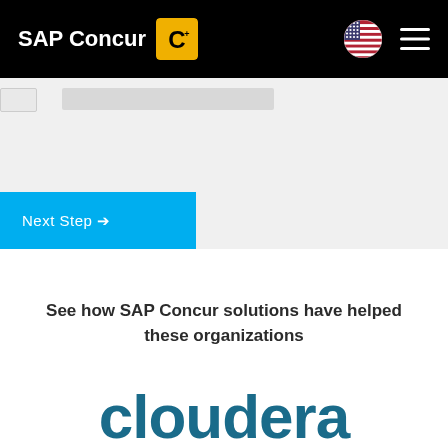SAP Concur
[Figure (screenshot): Partial form fields visible in gray section]
[Figure (other): Next Step button with arrow, cyan/blue background]
See how SAP Concur solutions have helped these organizations
[Figure (logo): Cloudera logo text in teal/dark blue color, partially visible]